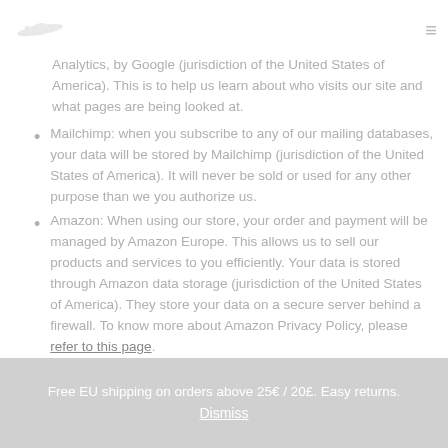[logo] [hamburger menu]
Analytics, by Google (jurisdiction of the United States of America). This is to help us learn about who visits our site and what pages are being looked at.
Mailchimp: when you subscribe to any of our mailing databases, your data will be stored by Mailchimp (jurisdiction of the United States of America). It will never be sold or used for any other purpose than we you authorize us.
Amazon: When using our store, your order and payment will be managed by Amazon Europe. This allows us to sell our products and services to you efficiently. Your data is stored through Amazon data storage (jurisdiction of the United States of America). They store your data on a secure server behind a firewall. To know more about Amazon Privacy Policy, please refer to this page.
Free EU shipping on orders above 25€ / 20£. Easy returns. Dismiss